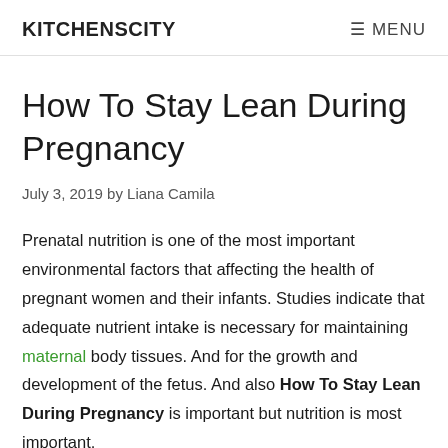KITCHENSCITY    ☰ MENU
How To Stay Lean During Pregnancy
July 3, 2019 by Liana Camila
Prenatal nutrition is one of the most important environmental factors that affecting the health of pregnant women and their infants. Studies indicate that adequate nutrient intake is necessary for maintaining maternal body tissues. And for the growth and development of the fetus. And also How To Stay Lean During Pregnancy is important but nutrition is most important.